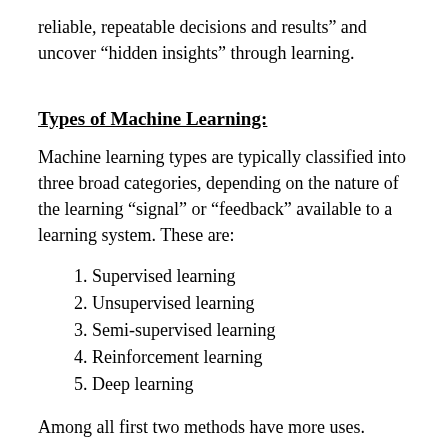reliable, repeatable decisions and results” and uncover “hidden insights” through learning.
Types of Machine Learning:
Machine learning types are typically classified into three broad categories, depending on the nature of the learning “signal” or “feedback” available to a learning system. These are:
1. Supervised learning
2. Unsupervised learning
3. Semi-supervised learning
4. Reinforcement learning
5. Deep learning
Among all first two methods have more uses.